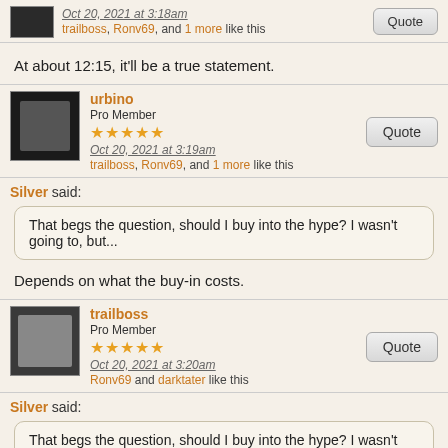Oct 20, 2021 at 3:18am
trailboss, Ronv69, and 1 more like this
At about 12:15, it'll be a true statement.
urbino
Pro Member
Oct 20, 2021 at 3:19am
trailboss, Ronv69, and 1 more like this
Silver said:
That begs the question, should I buy into the hype? I wasn't going to, but...
Depends on what the buy-in costs.
trailboss
Pro Member
Oct 20, 2021 at 3:20am
Ronv69 and darktater like this
Silver said:
That begs the question, should I buy into the hype? I wasn't going to, but...